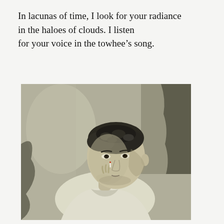In lacunas of time, I look for your radiance in the haloes of clouds. I listen for your voice in the towhee's song.
[Figure (photo): Black and white photograph of a young man with curly hair, wearing a white shirt, holding what appears to be a cigarette to his lips, with a thoughtful or brooding expression, seated or leaning against a background.]